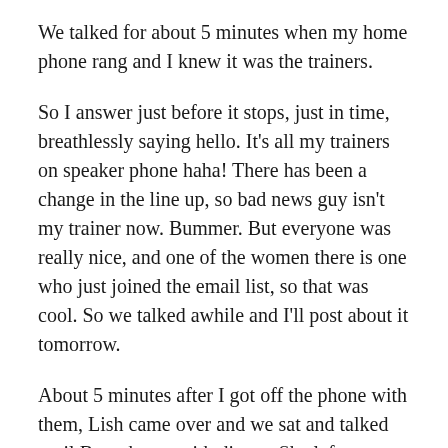We talked for about 5 minutes when my home phone rang and I knew it was the trainers.
So I answer just before it stops, just in time, breathlessly saying hello. It’s all my trainers on speaker phone haha! There has been a change in the line up, so bad news guy isn’t my trainer now. Bummer. But everyone was really nice, and one of the women there is one who just joined the email list, so that was cool. So we talked awhile and I’ll post about it tomorrow.
About 5 minutes after I got off the phone with them, Lish came over and we sat and talked until B got home with dinner. She left, we ate, and now I’m typing this and it’s just after 7pm.
So, um, well, not the best way to recover from fatigue, but on the whole, the only thing that seemed tiring was the lesson with Dave, which